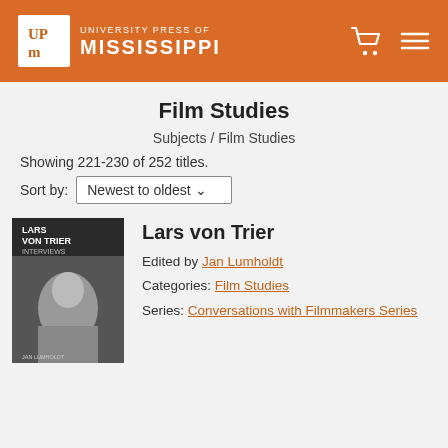University Press of Mississippi
Film Studies
Subjects / Film Studies
Showing 221-230 of 252 titles.
Sort by: Newest to oldest
[Figure (photo): Book cover of Lars von Trier Interviews, with a black and white photo of a man resting his chin on his hands.]
Lars von Trier
Edited by Jan Lumholdt
Categories: Film Studies
Series: Conversations with Filmmakers Series